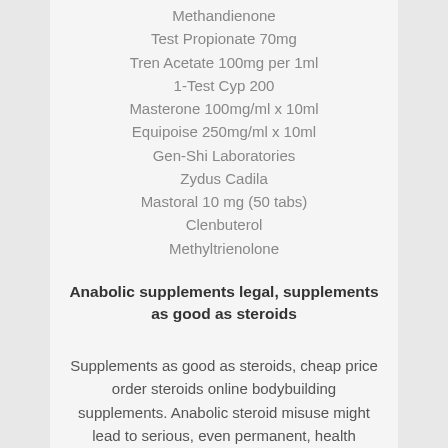Methandienone
Test Propionate 70mg
Tren Acetate 100mg per 1ml
1-Test Cyp 200
Masterone 100mg/ml x 10ml
Equipoise 250mg/ml x 10ml
Gen-Shi Laboratories
Zydus Cadila
Mastoral 10 mg (50 tabs)
Clenbuterol
Methyltrienolone
Anabolic supplements legal, supplements as good as steroids
Supplements as good as steroids, cheap price order steroids online bodybuilding supplements. Anabolic steroid misuse might lead to serious, even permanent, health problems such as: kidney problems or failure liver damage and tumors enlarged heart, high blood pressure, and changes in blood cholesterol, all of which increase the risk of stroke and heart attack, even in young people